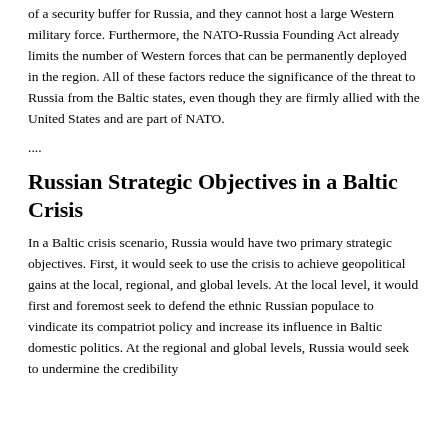of a security buffer for Russia, and they cannot host a large Western military force. Furthermore, the NATO-Russia Founding Act already limits the number of Western forces that can be permanently deployed in the region. All of these factors reduce the significance of the threat to Russia from the Baltic states, even though they are firmly allied with the United States and are part of NATO.
....
Russian Strategic Objectives in a Baltic Crisis
In a Baltic crisis scenario, Russia would have two primary strategic objectives. First, it would seek to use the crisis to achieve geopolitical gains at the local, regional, and global levels. At the local level, it would first and foremost seek to defend the ethnic Russian populace to vindicate its compatriot policy and increase its influence in Baltic domestic politics. At the regional and global levels, Russia would seek to undermine the credibility